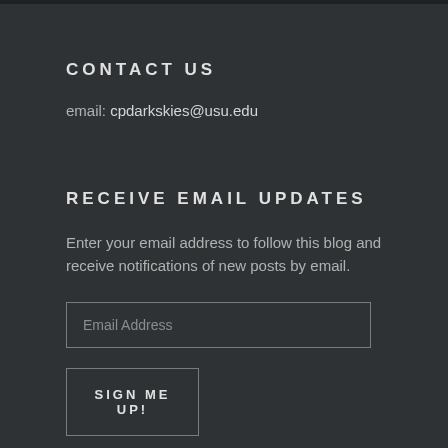CONTACT US
email: cpdarkskies@usu.edu
RECEIVE EMAIL UPDATES
Enter your email address to follow this blog and receive notifications of new posts by email.
Email Address
SIGN ME UP!